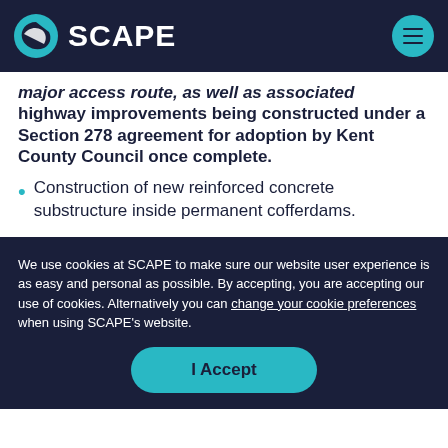SCAPE
major access route, as well as associated highway improvements being constructed under a Section 278 agreement for adoption by Kent County Council once complete.
Construction of new reinforced concrete substructure inside permanent cofferdams.
We use cookies at SCAPE to make sure our website user experience is as easy and personal as possible. By accepting, you are accepting our use of cookies. Alternatively you can change your cookie preferences when using SCAPE's website.
I Accept